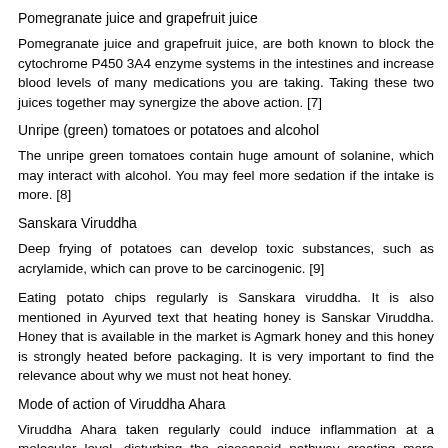Pomegranate juice and grapefruit juice
Pomegranate juice and grapefruit juice, are both known to block the cytochrome P450 3A4 enzyme systems in the intestines and increase blood levels of many medications you are taking. Taking these two juices together may synergize the above action. [7]
Unripe (green) tomatoes or potatoes and alcohol
The unripe green tomatoes contain huge amount of solanine, which may interact with alcohol. You may feel more sedation if the intake is more. [8]
Sanskara Viruddha
Deep frying of potatoes can develop toxic substances, such as acrylamide, which can prove to be carcinogenic. [9]
Eating potato chips regularly is Sanskara viruddha. It is also mentioned in Ayurved text that heating honey is Sanskar Viruddha. Honey that is available in the market is Agmark honey and this honey is strongly heated before packaging. It is very important to find the relevance about why we must not heat honey.
Mode of action of Viruddha Ahara
Viruddha Ahara taken regularly could induce inflammation at a molecular level, disturbing the eicosanoid pathway creating more arachidonic acid leading to increased prostaglandin 2 and thromboxane. This inflammatory effect is an